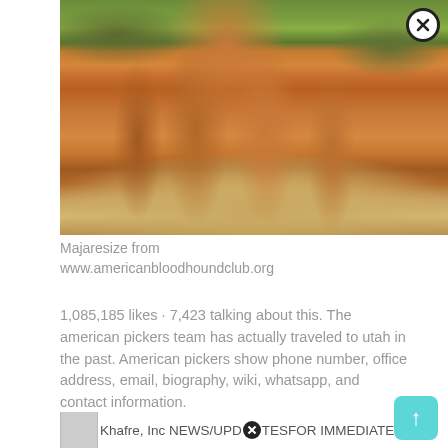[Figure (photo): Close-up photo of a large brown/tan dog (bloodhound) standing on grass, showing legs and lower body. A close/X button overlay is visible in the upper right of the image.]
Majaresize from www.americanbloodhoundclub.org
1,085,185 likes · 7,423 talking about this. The american pickers team has actually traveled to utah in the past. American pickers show phone number, office address, email, biography, wiki, whatsapp, and contact information.
[Figure (photo): Partial image placeholder for 'Khafre, Inc NEWS/UPDATES FOR IMMEDIATE' with a close/X button overlay in the text.]